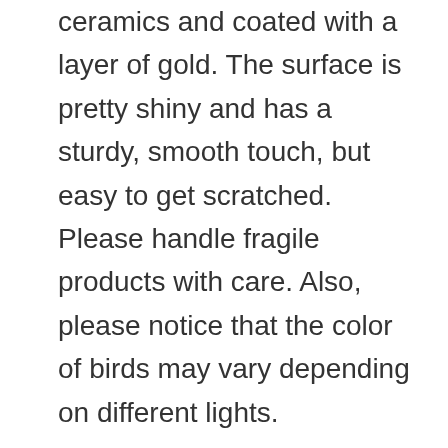ceramics and coated with a layer of gold. The surface is pretty shiny and has a sturdy, smooth touch, but easy to get scratched. Please handle fragile products with care. Also, please notice that the color of birds may vary depending on different lights.
Lovely Little bird ornament can decorate your living room, bedroom, bathroom, kitchen, bookshelf, TV cabinet, nightstands, mantelpiece, tabletop, etc., projecting a bright, homey and artistic atmosphere in